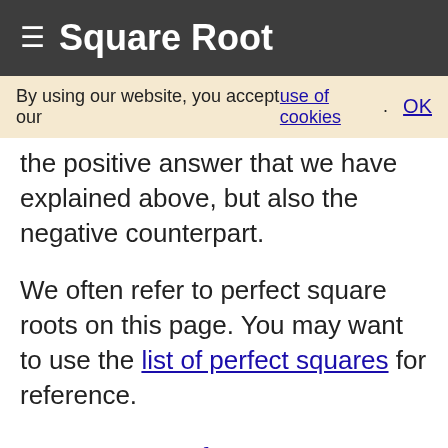☰ Square Root
By using our website, you accept our use of cookies. OK
the positive answer that we have explained above, but also the negative counterpart.
We often refer to perfect square roots on this page. You may want to use the list of perfect squares for reference.
Square Root of 920
Here is the next number on our list that we have equally detailed square